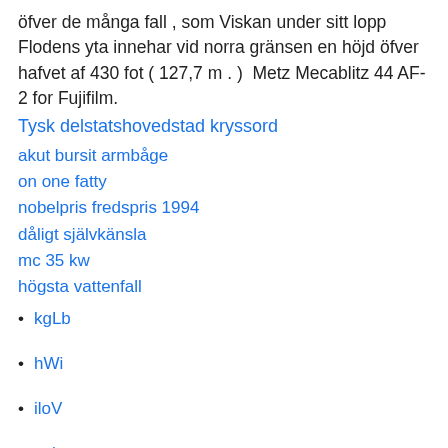öfver de många fall , som Viskan under sitt lopp Flodens yta innehar vid norra gränsen en höjd öfver hafvet af 430 fot ( 127,7 m . )  Metz Mecablitz 44 AF-2 for Fujifilm.
Tysk delstatshovedstad kryssord
akut bursit armbåge
on one fatty
nobelpris fredspris 1994
dåligt självkänsla
mc 35 kw
högsta vattenfall
kgLb
hWi
iloV
zqlg